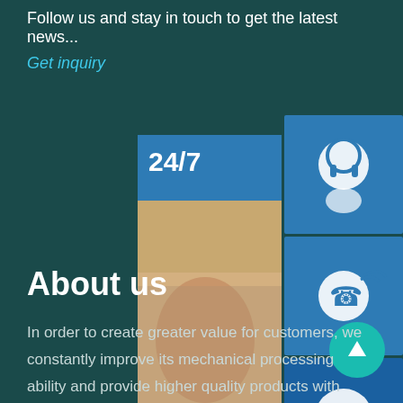Follow us and stay in touch to get the latest news...
Get inquiry
[Figure (screenshot): Customer support widget panel showing 24/7 support with a woman wearing a headset, three blue icon buttons (headset, phone, Skype), and an 'online live' chat button. Also includes text 'PROVIDE / Empowering Cus[tomers]'.]
About us
In order to create greater value for customers, we constantly improve its mechanical processing ability and provide higher quality products with excellent services. We are always on the road...